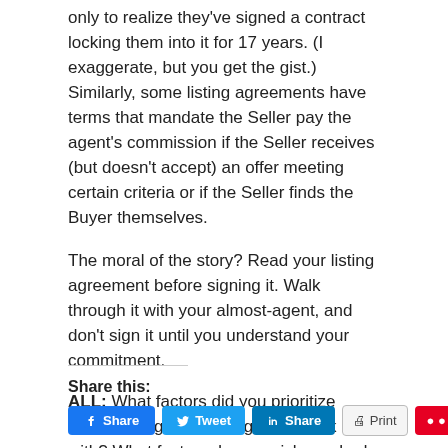only to realize they've signed a contract locking them into it for 17 years. (I exaggerate, but you get the gist.) Similarly, some listing agreements have terms that mandate the Seller pay the agent's commission if the Seller receives (but doesn't accept) an offer meeting certain criteria or if the Seller finds the Buyer themselves.
The moral of the story? Read your listing agreement before signing it. Walk through it with your almost-agent, and don't sign it until you understand your commitment.
ALL: What factors did you prioritize when finding the right agent to work with? What factors do you wish you had paid attention to?
Share this: